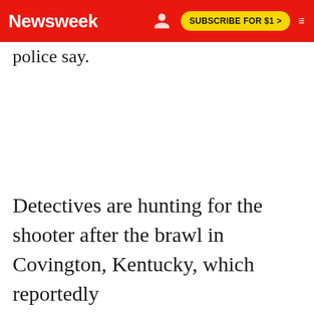Newsweek | SUBSCRIBE FOR $1 >
police say.
Detectives are hunting for the shooter after the brawl in Covington, Kentucky, which reportedly